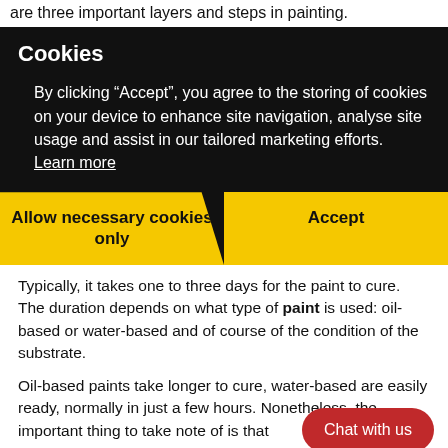are three important layers and steps in painting.
Cookies
By clicking “Accept”, you agree to the storing of cookies on your device to enhance site navigation, analyse site usage and assist in our tailored marketing efforts. Learn more
Allow necessary cookies only
Accept
Typically, it takes one to three days for the paint to cure. The duration depends on what type of paint is used: oil-based or water-based and of course of the condition of the substrate.
Oil-based paints take longer to cure, water-based are easily ready, normally in just a few hours. Nonetheless, the important thing to take note of is that
[Figure (other): Chat with us button (red rounded rectangle)]